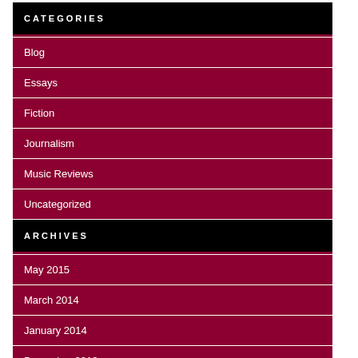CATEGORIES
Blog
Essays
Fiction
Journalism
Music Reviews
Uncategorized
ARCHIVES
May 2015
March 2014
January 2014
December 2013
September 2013